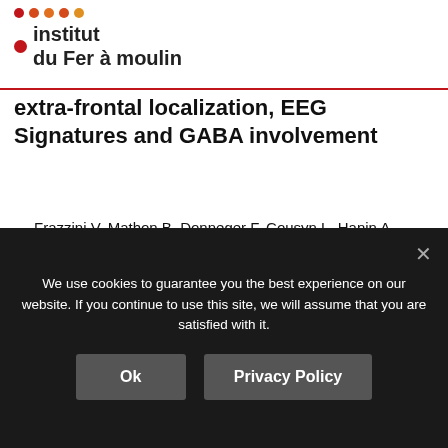[Figure (logo): Institut du Fer à moulin logo with colored dots and red circle]
extra-frontal localization, EEG Signatures and GABA involvement
Frazzini V, Mathon B, Donneger F, Cousyn L, Hanin A, Nguyen-Michel VH, Adam C, Lambrecq V, Dupont S, Poncer JC, Bielle F, Navarro V.
J Neurol. (2022) doi: 10.1007/s00415-022-11024-y
PMID :35254479
Equipe :Poncer / Lévi
We use cookies to guarantee you the best experience on our website. If you continue to use this site, we will assume that you are satisfied with it.